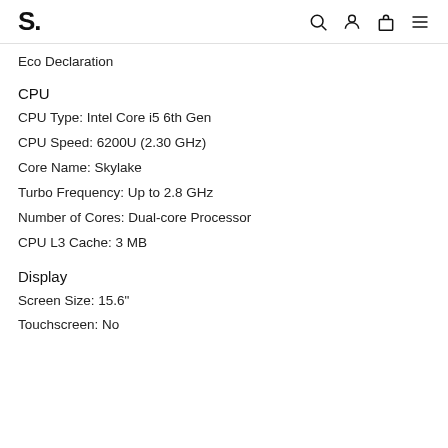S.
Eco Declaration
CPU
CPU Type: Intel Core i5 6th Gen
CPU Speed: 6200U (2.30 GHz)
Core Name: Skylake
Turbo Frequency: Up to 2.8 GHz
Number of Cores: Dual-core Processor
CPU L3 Cache: 3 MB
Display
Screen Size: 15.6"
Touchscreen: No